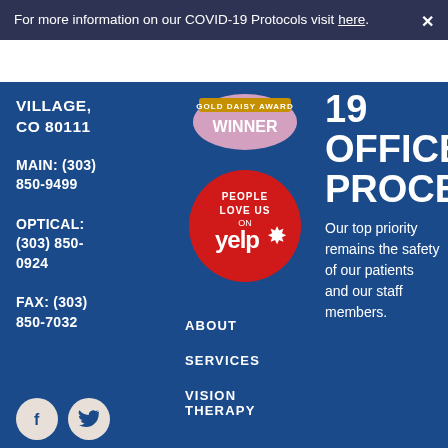For more information on our COVID-19 Protocols visit here.
VILLAGE, CO 80111
MAIN: (303) 850-9499 OPTICAL: (303) 850-0924 FAX: (303) 850-7032
[Figure (logo): Gold Daisy Award Winner badge - pink/gold circular badge]
[Figure (logo): People Love Us on Yelp badge - red circular badge with yelp logo]
ABOUT
SERVICES
VISION THERAPY
19 OFFICE PROCEDU
Our top priority remains the safety of our patients and our staff members.
[Figure (logo): Facebook social media icon - light beige circle with F]
[Figure (logo): Twitter social media icon - light beige circle with bird]